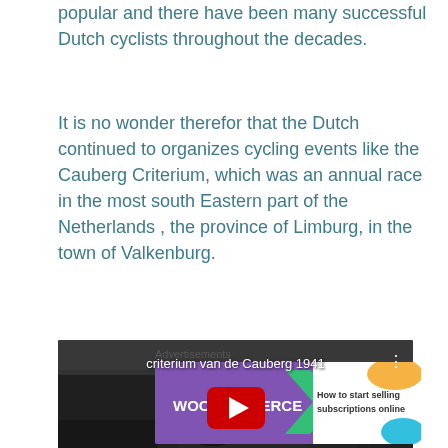popular and there have been many successful Dutch cyclists throughout the decades.
It is no wonder therefor that the Dutch continued to organizes cycling events like the Cauberg Criterium, which was an annual race in the most south Eastern part of the Netherlands , the province of Limburg, in the town of Valkenburg.
[Figure (screenshot): YouTube video embed showing a black and white historical cycling race scene titled 'criterium van de Cauberg 1941' with a red play button in the center]
Advertisements
[Figure (screenshot): WooCommerce advertisement banner: purple background with WooCommerce logo and arrow, text 'How to start selling subscriptions online' on white with orange and teal decorative shapes]